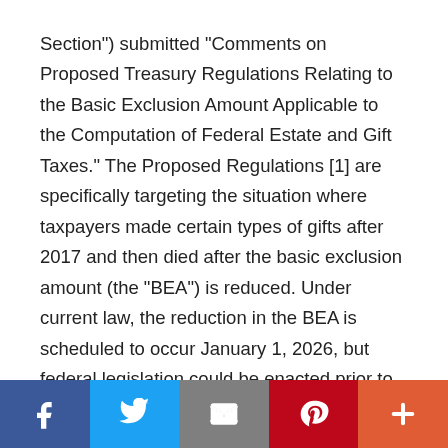Section") submitted “Comments on Proposed Treasury Regulations Relating to the Basic Exclusion Amount Applicable to the Computation of Federal Estate and Gift Taxes.” The Proposed Regulations [1] are specifically targeting the situation where taxpayers made certain types of gifts after 2017 and then died after the basic exclusion amount (the “BEA”) is reduced. Under current law, the reduction in the BEA is scheduled to occur January 1, 2026, but federal legislation could be enacted prior to that date which could accelerate the timing of this reduction. Special thanks to Jolyon D. Acosta, Cullen I. Boggus, Mark R. Brown, Steven M. Hogan, Andrew T. Huber, David
[Figure (other): Social media share bar with Facebook, Twitter, Email, Pinterest, and More (+) buttons]